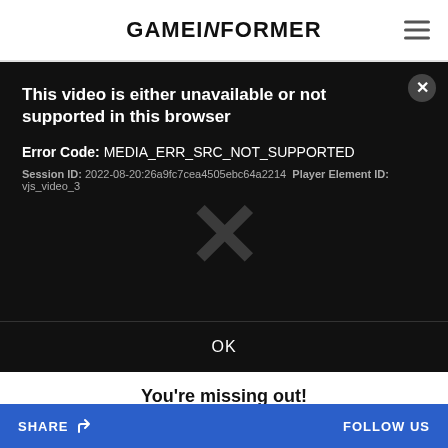GAMEINFORMER
[Figure (screenshot): Video player error dialog on dark background. Shows error message: 'This video is either unavailable or not supported in this browser'. Error Code: MEDIA_ERR_SRC_NOT_SUPPORTED. Session ID: 2022-08-20:26a9fc7cea4505ebc64a2214. Player Element ID: vjs_video_3. A large faint X is visible in the center. An OK button at the bottom. A close (X) button in the top right corner.]
You're missing out!
Normally this is where our videos and livestreams
SHARE  FOLLOW US